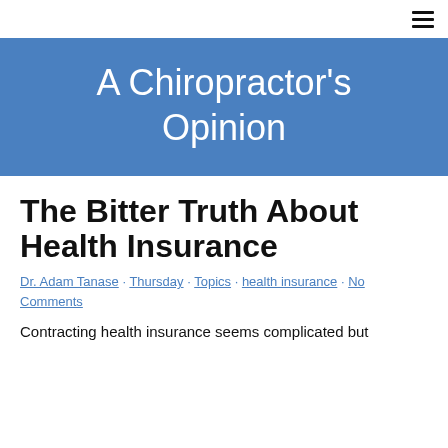≡
A Chiropractor's Opinion
The Bitter Truth About Health Insurance
Dr. Adam Tanase · Thursday · Topics · health insurance · No Comments
Contracting health insurance seems complicated but